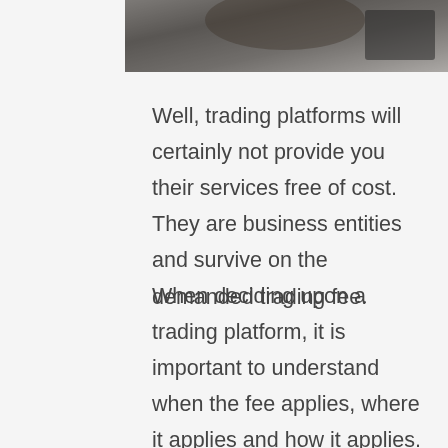[Figure (photo): Partial photo strip at top of page, showing a blurred/cropped image]
Well, trading platforms will certainly not provide you their services free of cost. They are business entities and survive on the demanded trading fee.
When deciding upon a trading platform, it is important to understand when the fee applies, where it applies and how it applies. Or else, it is quite easy to fall for scams, and as I said